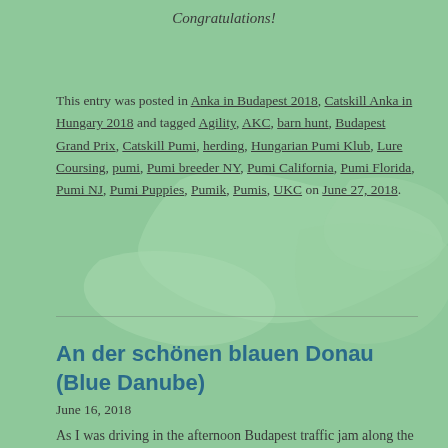Congratulations!
This entry was posted in Anka in Budapest 2018, Catskill Anka in Hungary 2018 and tagged Agility, AKC, barn hunt, Budapest Grand Prix, Catskill Pumi, herding, Hungarian Pumi Klub, Lure Coursing, pumi, Pumi breeder NY, Pumi California, Pumi Florida, Pumi NJ, Pumi Puppies, Pumik, Pumis, UKC on June 27, 2018.
An der schönen blauen Donau (Blue Danube)
June 16, 2018
As I was driving in the afternoon Budapest traffic jam along the riverbank of the Danube River, an old pleasant